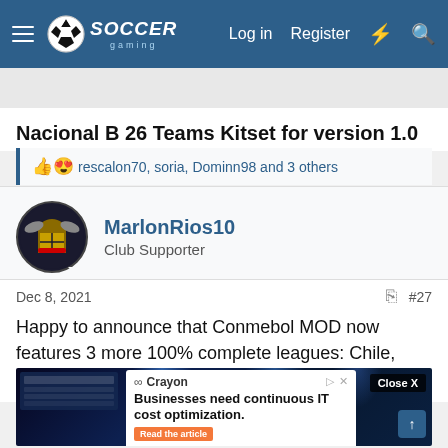Soccer Gaming — Log in  Register
Nacional B 26 Teams Kitset for version 1.0
rescalon70, soria, Dominn98 and 3 others
MarlonRios10
Club Supporter
Dec 8, 2021  #27
Happy to announce that Conmebol MOD now features 3 more 100% complete leagues: Chile, Uruguay and Peru
[Figure (screenshot): Screenshot of a soccer/football game UI showing match lineups and stats panels with blue stadium lighting in the background, overlaid with a Crayon advertisement banner saying 'Businesses need continuous IT cost optimization.']